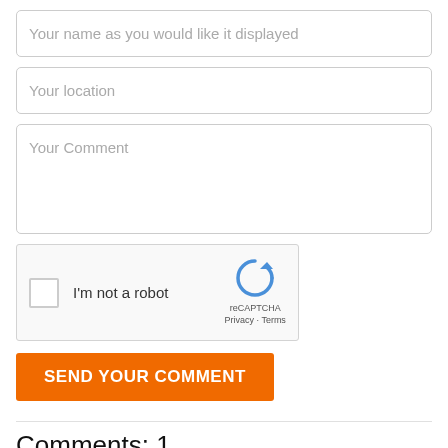[Figure (screenshot): Web form with input fields: 'Your name as you would like it displayed', 'Your location', 'Your Comment' textarea, reCAPTCHA widget, and 'SEND YOUR COMMENT' button]
Comments: 1
Ufollowinme from Bassett Ca,
“You know I’ve BEEN around” are the lyrics for